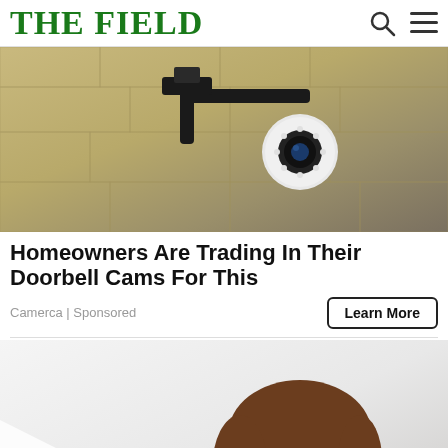THE FIELD
[Figure (photo): Security camera mounted on stone/brick wall exterior]
Homeowners Are Trading In Their Doorbell Cams For This
Camerca | Sponsored
[Figure (photo): Smiling young woman with brown hair looking up, light background]